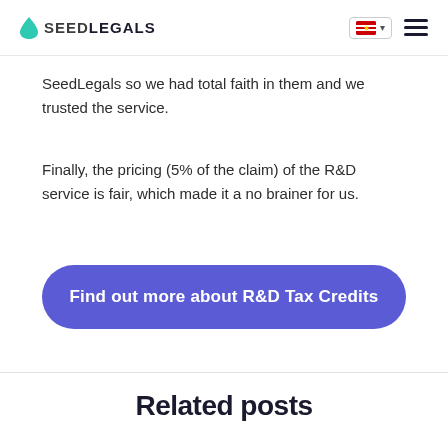SEEDLEGALS
SeedLegals so we had total faith in them and we trusted the service.
Finally, the pricing (5% of the claim) of the R&D service is fair, which made it a no brainer for us.
Find out more about R&D Tax Credits
Related posts